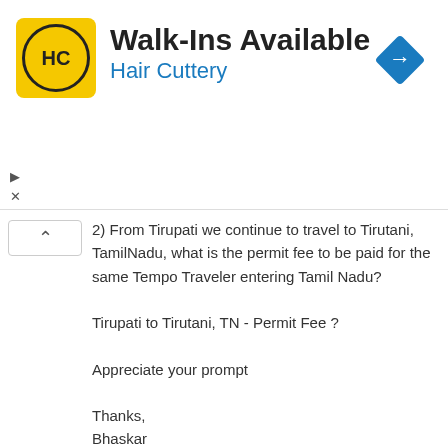[Figure (infographic): Hair Cuttery advertisement banner with logo, 'Walk-Ins Available' text, 'Hair Cuttery' subtitle in blue, and a blue diamond navigation icon on the right.]
2) From Tirupati we continue to travel to Tirutani, TamilNadu, what is the permit fee to be paid for the same Tempo Traveler entering Tamil Nadu?

Tirupati to Tirutani, TN - Permit Fee ?

Appreciate your prompt

Thanks,
Bhaskar
Reply
ADMIN
THURSDAY, MARCH 17, 2016 10:22:00 PM
Hello.
I'm going to Maharastra from Rajasthan via Madhya Pradesh for a tour in a 52 seater non a/c bus. I know the border tax rates of MP. Anyone have any idea